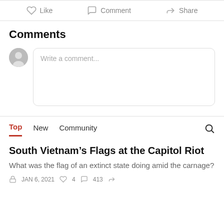Like   Comment   Share
Comments
Write a comment...
Top   New   Community
South Vietnam’s Flags at the Capitol Riot
What was the flag of an extinct state doing amid the carnage?
JAN 6, 2021  4  413